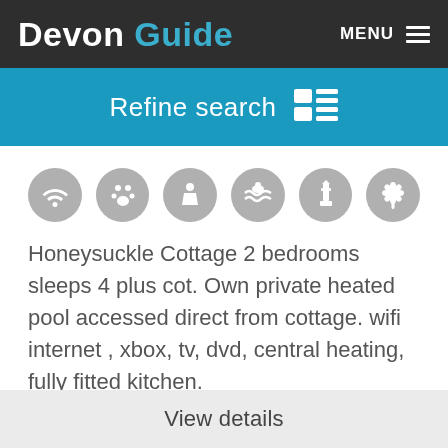Devon Guide | MENU
Refine search
[Figure (other): Six circular grey icons representing amenities: wifi, pets, baby/cot, swimming pool, lighthouse, garden/flower]
Honeysuckle Cottage 2 bedrooms sleeps 4 plus cot. Own private heated pool accessed direct from cottage. wifi internet , xbox, tv, dvd, central heating, fully fitted kitchen.
Show on map
View details